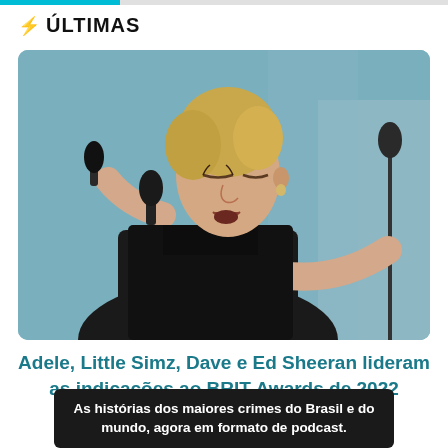ÚLTIMAS
[Figure (photo): Woman with blonde hair in a black dress singing into a microphone on stage, eyes closed, arm extended to the side holding a microphone stand]
Adele, Little Simz, Dave e Ed Sheeran lideram as indicações ao BRIT Awards de 2022
As histórias dos maiores crimes do Brasil e do mundo, agora em formato de podcast.